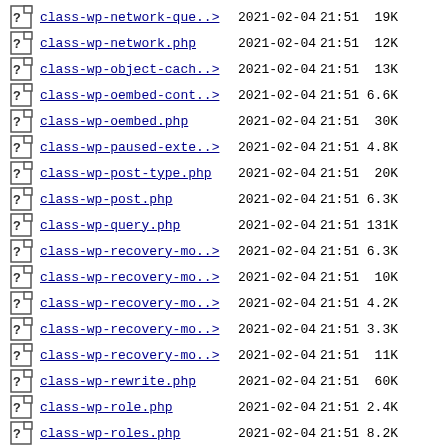class-wp-network-que..>  2021-02-04 21:51  19K
class-wp-network.php     2021-02-04 21:51  12K
class-wp-object-cach..>  2021-02-04 21:51  13K
class-wp-oembed-cont..>  2021-02-04 21:51  6.6K
class-wp-oembed.php      2021-02-04 21:51  30K
class-wp-paused-exte..>  2021-02-04 21:51  4.8K
class-wp-post-type.php   2021-02-04 21:51  20K
class-wp-post.php        2021-02-04 21:51  6.3K
class-wp-query.php       2021-02-04 21:51  131K
class-wp-recovery-mo..>  2021-02-04 21:51  6.3K
class-wp-recovery-mo..>  2021-02-04 21:51  10K
class-wp-recovery-mo..>  2021-02-04 21:51  4.2K
class-wp-recovery-mo..>  2021-02-04 21:51  3.3K
class-wp-recovery-mo..>  2021-02-04 21:51  11K
class-wp-rewrite.php     2021-02-04 21:51  60K
class-wp-role.php        2021-02-04 21:51  2.4K
class-wp-roles.php       2021-02-04 21:51  8.2K